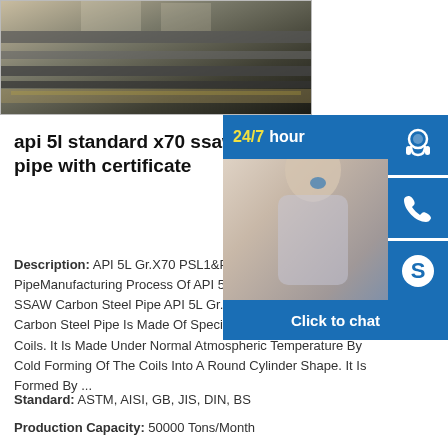[Figure (photo): Steel plates or pipes stacked, viewed from above, with sawdust/debris visible]
[Figure (photo): Customer service representative (woman with headset) with 24/7 hour chat widget overlay including headset icon, phone icon, Skype icon, and Click to chat button]
api 5l standard x70 ssaw carbon steel pipe with certificate
Description: API 5L Gr.X70 PSL1&PSL2 Ssaw Carbon Steel Pipe Manufacturing Process Of API 5L Gr.X70 SSAW Carbon Steel Pipe API 5L Gr.X70 SSAW Carbon Steel Pipe Is Made Of Specified Coils. It Is Made Under Normal Atmospheric Temperature By Cold Forming Of The Coils Into A Round Cylinder Shape. It Is Formed By ...
Standard: ASTM, AISI, GB, JIS, DIN, BS
Production Capacity: 50000 Tons/Month